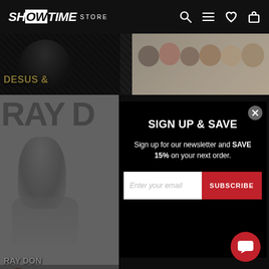SHOWTIME STORE
[Figure (screenshot): Showtime Store website screenshot with sign up modal. Background shows TV show thumbnails including Desus & Mero and Ray Donovan. A popup modal reads 'SIGN UP & SAVE - Sign up for our newsletter and SAVE 15% on your next order.' with an email input field and SUBSCRIBE button.]
SIGN UP & SAVE
Sign up for our newsletter and SAVE 15% on your next order.
Enter your email
SUBSCRIBE